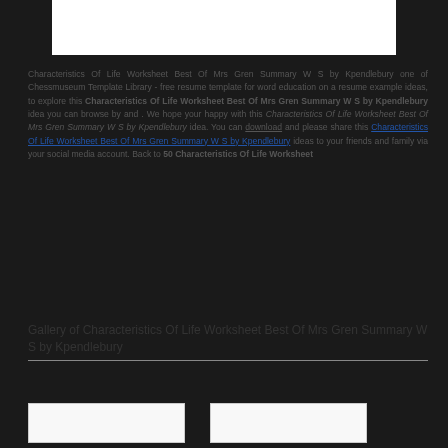[Figure (other): White rectangular box at the top of the page]
Characteristics Of Life Worksheet Best Of Mrs Gren Summary W S by Kpendlebury one of Chessmuseum Template Library - free resume template for word education on a resume example ideas, to explore this Characteristics Of Life Worksheet Best Of Mrs Gren Summary W S by Kpendlebury idea you can browse by and . We hope your happy with this Characteristics Of Life Worksheet Best Of Mrs Gren Summary W S by Kpendlebury idea. You can download and please share this Characteristics Of Life Worksheet Best Of Mrs Gren Summary W S by Kpendlebury ideas to your friends and family via your social media account. Back to 50 Characteristics Of Life Worksheet
Gallery of Characteristics Of Life Worksheet Best Of Mrs Gren Summary W S by Kpendlebury
[Figure (photo): Thumbnail image on the left bottom]
[Figure (photo): Thumbnail image on the right bottom]